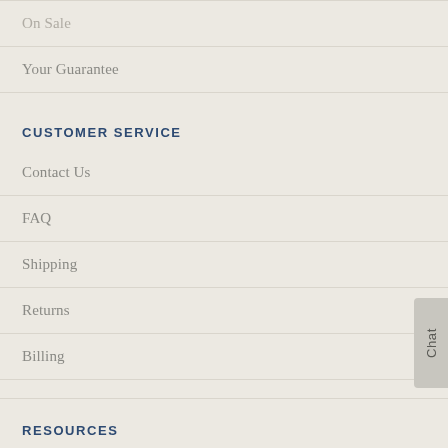On Sale
Your Guarantee
CUSTOMER SERVICE
Contact Us
FAQ
Shipping
Returns
Billing
RESOURCES
Health Blog
Health Articles